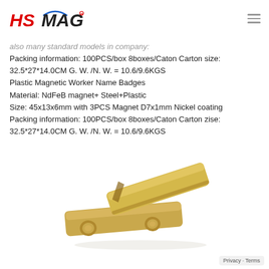HSMAG (logo)
also many standard models in company:
Packing information: 100PCS/box 8boxes/Caton Carton size: 32.5*27*14.0CM G. W. /N. W. = 10.6/9.6KGS
Plastic Magnetic Worker Name Badges
Material: NdFeB magnet+ Steel+Plastic
Size: 45x13x6mm with 3PCS Magnet D7x1mm Nickel coating
Packing information: 100PCS/box 8boxes/Caton Carton zise: 32.5*27*14.0CM G. W. /N. W. = 10.6/9.6KGS
[Figure (photo): Two gold/brass colored magnetic name badge holders — one flat on the bottom with two circular magnets visible, one angled/tilted on top — shown against a white background.]